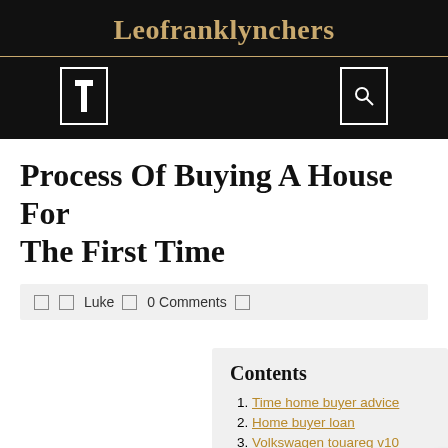Leofranklynchers
[Figure (other): Navigation bar with two icon boxes on black background]
Process Of Buying A House For The First Time
Luke   0 Comments
Contents
1. Time home buyer advice
2. Home buyer loan
3. Volkswagen touareg v10 tdi
4. Home buyer grant (